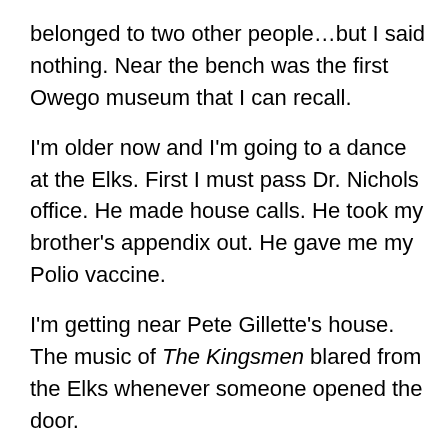belonged to two other people…but I said nothing.  Near the bench was the first Owego museum that I can recall.
I'm older now and I'm going to a dance at the Elks.  First I must pass Dr. Nichols office.  He made house calls.  He took my brother's appendix out.  He gave me my Polio vaccine.
I'm getting near Pete Gillette's house.  The music of The Kingsmen blared from the Elks whenever someone opened the door.
I'm older and I stop into the bar that is now John Barleycorn.  I have a legal drink.  I continue up Front Street.  The buildings are changing from plastic and aluminum facades to brightly painted shops called River Row.  I look across the street and see the Dean Phillips